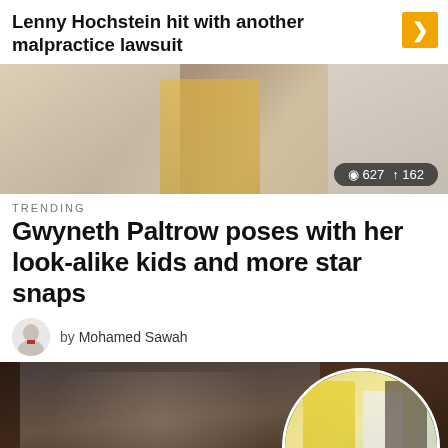Lenny Hochstein hit with another malpractice lawsuit
[Figure (photo): Photo of people at an event, with view count 627 and share count 162]
TRENDING
Gwyneth Paltrow poses with her look-alike kids and more star snaps
by Mohamed Sawah
[Figure (photo): Gwyneth Paltrow in a sparkly off-shoulder dress on a red carpet, with a circular inset image showing people in yellow dress and white outfit]